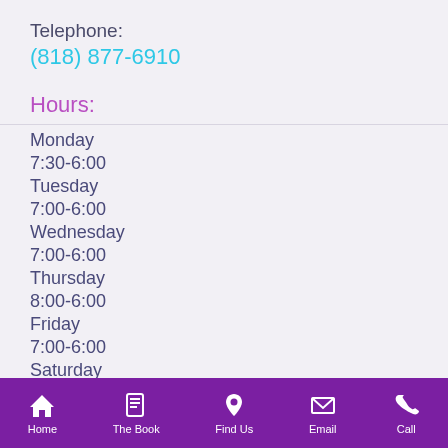Telephone:
(818) 877-6910
Hours:
| Monday |  |
|  | 7:30-6:00 |
| Tuesday |  |
|  | 7:00-6:00 |
| Wednesday |  |
|  | 7:00-6:00 |
| Thursday |  |
|  | 8:00-6:00 |
| Friday |  |
|  | 7:00-6:00 |
| Saturday |  |
| 7:00-6:00 |  |
Home  The Book  Find Us  Email  Call